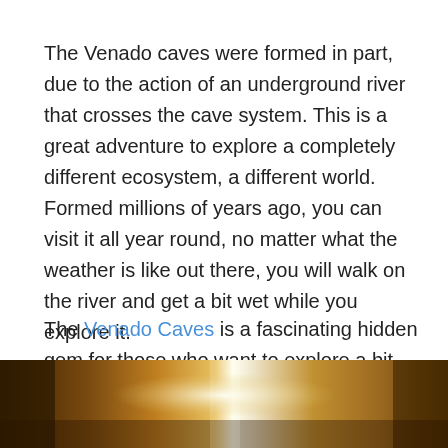The Venado caves were formed in part, due to the action of an underground river that crosses the cave system. This is a great adventure to explore a completely different ecosystem, a different world. Formed millions of years ago, you can visit it all year round, no matter what the weather is like out there, you will walk on the river and get a bit wet while you explore it.
The Venado Caves is a fascinating hidden gem for those who want to explore a bit more than just the surface.
[Figure (photo): Photo of the interior of Venado Caves showing cave walls illuminated by light filtering through, with orange and golden rock formations visible.]